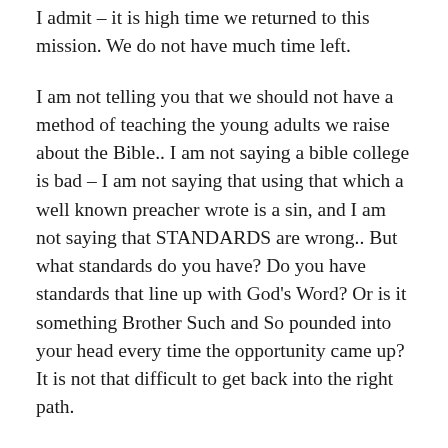I admit – it is high time we returned to this mission. We do not have much time left.
I am not telling you that we should not have a method of teaching the young adults we raise about the Bible.. I am not saying a bible college is bad – I am not saying that using that which a well known preacher wrote is a sin, and I am not saying that STANDARDS are wrong.. But what standards do you have? Do you have standards that line up with God's Word? Or is it something Brother Such and So pounded into your head every time the opportunity came up? It is not that difficult to get back into the right path.
There will be some that scoff at this.. Some who blow it off, or others who get downright mad.. I may never speak to some again because they do not like this... However – it is not my duty to tickle your ears. Or in